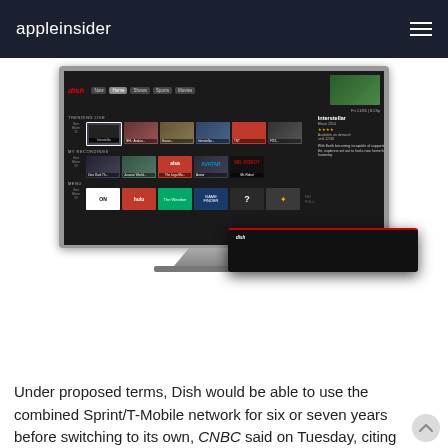appleinsider
[Figure (screenshot): Dish Hopper TV interface shown on a flat-screen TV with a Dish set-top box in front. The screen shows the Dish UI with trending live shows, recordings, and menu options including Interstellar highlighted.]
Under proposed terms, Dish would be able to use the combined Sprint/T-Mobile network for six or seven years before switching to its own, CNBC said on Tuesday, citing